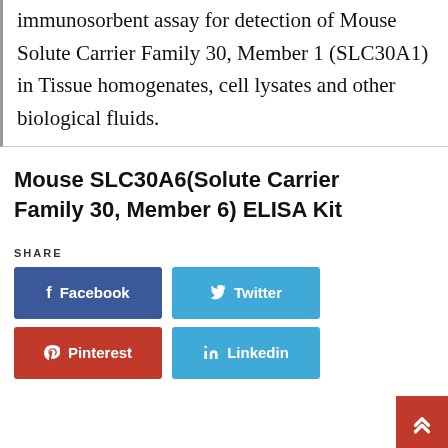immunosorbent assay for detection of Mouse Solute Carrier Family 30, Member 1 (SLC30A1) in Tissue homogenates, cell lysates and other biological fluids.
Mouse SLC30A6(Solute Carrier Family 30, Member 6) ELISA Kit
SHARE
[Figure (other): Social share buttons: Facebook (dark blue), Twitter (light blue), Pinterest (red), Linkedin (light blue)]